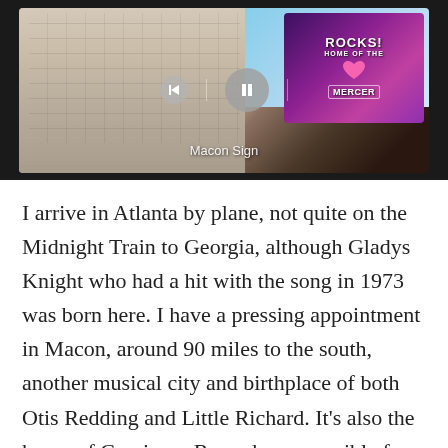[Figure (photo): A photo of a brick building with a colorful sign reading 'ROCKS! HOME OF THE MERCER' visible. The image appears in a media player with pause/back controls and is captioned 'Macon Sign'.]
Macon Sign
I arrive in Atlanta by plane, not quite on the Midnight Train to Georgia, although Gladys Knight who had a hit with the song in 1973 was born here. I have a pressing appointment in Macon, around 90 miles to the south, another musical city and birthplace of both Otis Redding and Little Richard. It's also the home of Capricorn Records, responsible for Southern rock with bands like the